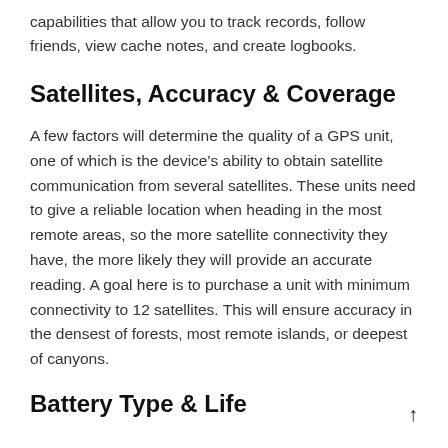capabilities that allow you to track records, follow friends, view cache notes, and create logbooks.
Satellites, Accuracy & Coverage
A few factors will determine the quality of a GPS unit, one of which is the device's ability to obtain satellite communication from several satellites. These units need to give a reliable location when heading in the most remote areas, so the more satellite connectivity they have, the more likely they will provide an accurate reading. A goal here is to purchase a unit with minimum connectivity to 12 satellites. This will ensure accuracy in the densest of forests, most remote islands, or deepest of canyons.
Battery Type & Life